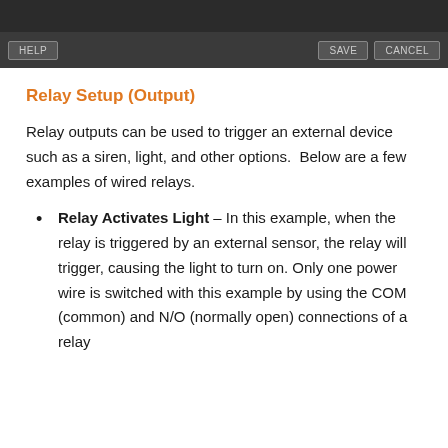[Figure (screenshot): Dark UI toolbar with HELP, SAVE, and CANCEL buttons on a dark gray background]
Relay Setup (Output)
Relay outputs can be used to trigger an external device such as a siren, light, and other options.  Below are a few examples of wired relays.
Relay Activates Light – In this example, when the relay is triggered by an external sensor, the relay will trigger, causing the light to turn on. Only one power wire is switched with this example by using the COM (common) and N/O (normally open) connections of a relay